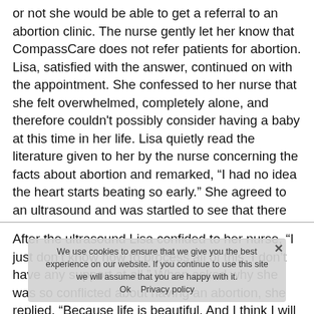or not she would be able to get a referral to an abortion clinic. The nurse gently let her know that CompassCare does not refer patients for abortion. Lisa, satisfied with the answer, continued on with the appointment. She confessed to her nurse that she felt overwhelmed, completely alone, and therefore couldn't possibly consider having a baby at this time in her life. Lisa quietly read the literature given to her by the nurse concerning the facts about abortion and remarked, “I had no idea the heart starts beating so early.” She agreed to an ultrasound and was startled to see that there were two gestational sacs on the screen. Lisa was carrying twins. She began to weep.
After the ultrasound Lisa confided to her nurse, “I just don’t know how to process all of this. I don’t have any support at all.” When asked why she was so conflicted about having an abortion, she replied, “Because life is beautiful. And I think I will regret [getting an abortion].”
We use cookies to ensure that we give you the best experience on our website. If you continue to use this site we will assume that you are happy with it. Ok Privacy policy